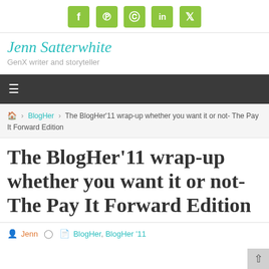[Figure (infographic): Row of 5 green rounded-square social media icons: Facebook (f), Pinterest (p), Instagram (camera), LinkedIn (in), Twitter (bird)]
Jenn Satterwhite
GenX writer and storyteller
≡ (hamburger menu)
🏠 > BlogHer > The BlogHer'11 wrap-up whether you want it or not- The Pay It Forward Edition
The BlogHer'11 wrap-up whether you want it or not- The Pay It Forward Edition
Jenn  BlogHer, BlogHer '11